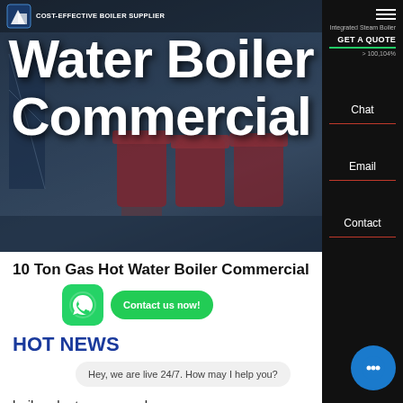[Figure (screenshot): Hero banner of a boiler supplier website showing industrial hot water boilers in dark blue setting with large white text overlay]
COST-EFFECTIVE BOILER SUPPLIER
Hot Water Boiler Commercial
10 Ton Gas Hot Water Boiler Commercial
HOT NEWS
Hey, we are live 24/7. How may I help you?
boiler plant power coal